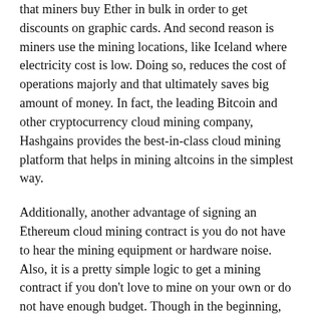that miners buy Ether in bulk in order to get discounts on graphic cards. And second reason is miners use the mining locations, like Iceland where electricity cost is low. Doing so, reduces the cost of operations majorly and that ultimately saves big amount of money. In fact, the leading Bitcoin and other cryptocurrency cloud mining company, Hashgains provides the best-in-class cloud mining platform that helps in mining altcoins in the simplest way.
Additionally, another advantage of signing an Ethereum cloud mining contract is you do not have to hear the mining equipment or hardware noise. Also, it is a pretty simple logic to get a mining contract if you don't love to mine on your own or do not have enough budget. Though in the beginning, you will get less profits on mining on yourself, but if you try cloud mining Ethereum contract, there is a possibility of earning profits early.
Following are the Hashgains Ethereum one year mining